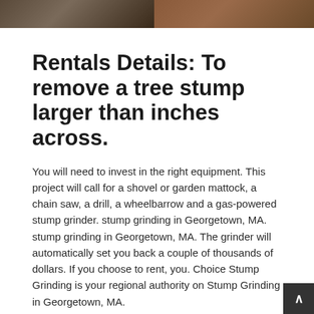[Figure (photo): Two side-by-side photos at top of page showing tree bark/stump textures]
Rentals Details: To remove a tree stump larger than inches across.
You will need to invest in the right equipment. This project will call for a shovel or garden mattock, a chain saw, a drill, a wheelbarrow and a gas-powered stump grinder. stump grinding in Georgetown, MA. stump grinding in Georgetown, MA. The grinder will automatically set you back a couple of thousands of dollars. If you choose to rent, you. Choice Stump Grinding is your regional authority on Stump Grinding in Georgetown, MA.
Call when you are ready to begin planning your Stump Grinding project and need professional experience to achieve success